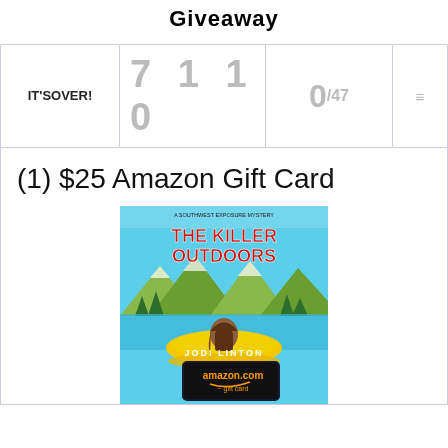Giveaway
IT'S OVER!
7 1 1 0
0/47
(1) $25 Amazon Gift Card
[Figure (photo): Book cover of 'The Killer Outdoors' by Jodi Linton, showing a woman in a yellow raft on a lake, with mountains and trees in background. An amazon.com gift card is shown overlapping the bottom of the book cover.]